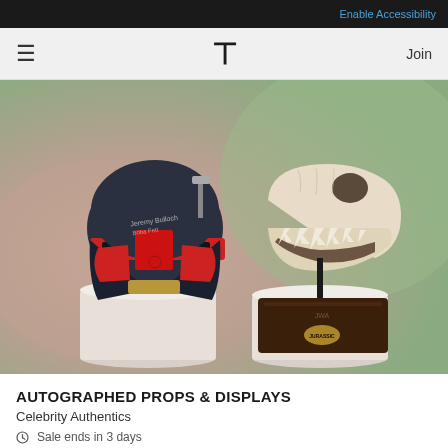Enable Accessibility
T  Join
[Figure (photo): Product photo showing a signed Boba Fett helmet (black, red, and dark blue colors with signature on top) displayed on a white pedestal on the left, and a T-Rex skull replica on a dark wooden base displayed on a white pedestal on the right, set against a soft gradient background of muted pink/green.]
AUTOGRAPHED PROPS & DISPLAYS
Celebrity Authentics
Sale ends in 3 days